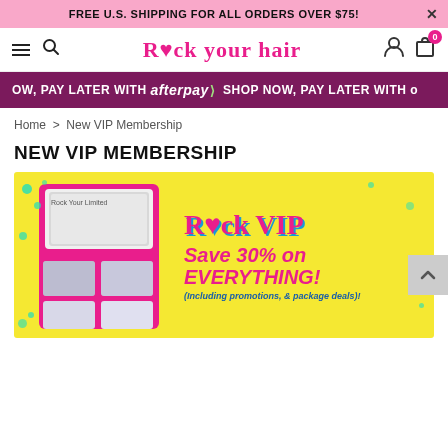FREE U.S. SHIPPING FOR ALL ORDERS OVER $75!
[Figure (screenshot): Rock Your Hair website navigation bar with hamburger menu, search icon, brand logo, account icon, and cart icon showing 0 items]
[Figure (infographic): Afterpay promotional banner: SHOP NOW, PAY LATER WITH afterpay on dark magenta background]
Home > New VIP Membership
NEW VIP MEMBERSHIP
[Figure (infographic): Rock VIP promotional image on yellow background showing open makeup palette on left and text on right: Rock VIP - Save 30% on EVERYTHING! (Including promotions, & package deals)!]